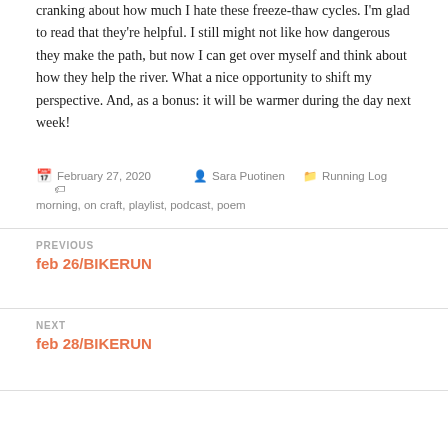cranking about how much I hate these freeze-thaw cycles. I'm glad to read that they're helpful. I still might not like how dangerous they make the path, but now I can get over myself and think about how they help the river. What a nice opportunity to shift my perspective. And, as a bonus: it will be warmer during the day next week!
February 27, 2020  Sara Puotinen  Running Log  morning, on craft, playlist, podcast, poem
PREVIOUS
feb 26/BIKERUN
NEXT
feb 28/BIKERUN